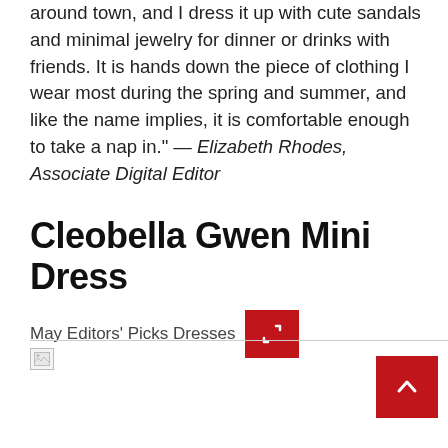around town, and I dress it up with cute sandals and minimal jewelry for dinner or drinks with friends. It is hands down the piece of clothing I wear most during the spring and summer, and like the name implies, it is comfortable enough to take a nap in." — Elizabeth Rhodes, Associate Digital Editor
Cleobella Gwen Mini Dress
May Editors' Picks Dresses
[Figure (other): Broken image placeholder icon]
[Figure (other): Red scroll-to-top button with upward chevron arrow]